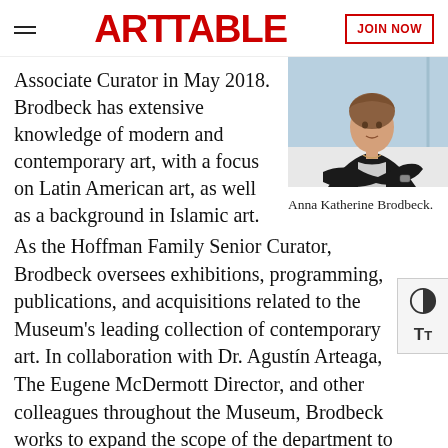ARTTABLE — JOIN NOW
Associate Curator in May 2018. Brodbeck has extensive knowledge of modern and contemporary art, with a focus on Latin American art, as well as a background in Islamic art.
[Figure (photo): Portrait photo of Anna Katherine Brodbeck, a woman in a dark blazer with arms crossed]
Anna Katherine Brodbeck.
As the Hoffman Family Senior Curator, Brodbeck oversees exhibitions, programming, publications, and acquisitions related to the Museum's leading collection of contemporary art. In collaboration with Dr. Agustín Arteaga, The Eugene McDermott Director, and other colleagues throughout the Museum, Brodbeck works to expand the scope of the department to reflect the DMA's commitment to presenting an inclusive, globally-minded vision of the art historical canon.